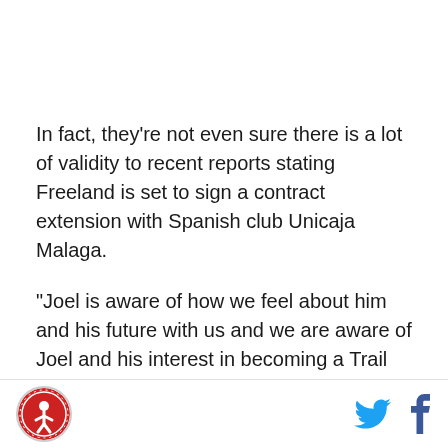In fact, they're not even sure there is a lot of validity to recent reports stating Freeland is set to sign a contract extension with Spanish club Unicaja Malaga.
"Joel is aware of how we feel about him and his future with us and we are aware of Joel and his interest in becoming a Trail Blazer," Blazers acting General Manager Chad Buchanan told Ridiculous Upside.
"When the season is over and we can begin to engage in more serious contract talks with Joel we will do so."
Logo and social media icons